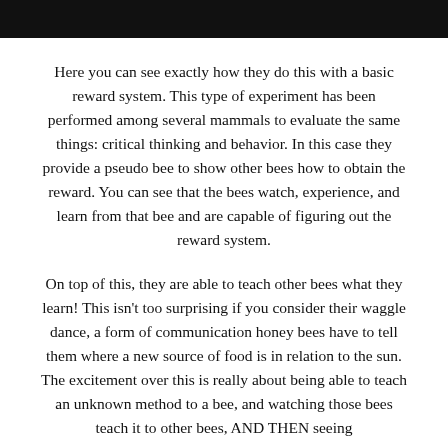Here you can see exactly how they do this with a basic reward system. This type of experiment has been performed among several mammals to evaluate the same things: critical thinking and behavior. In this case they provide a pseudo bee to show other bees how to obtain the reward. You can see that the bees watch, experience, and learn from that bee and are capable of figuring out the reward system.
On top of this, they are able to teach other bees what they learn! This isn't too surprising if you consider their waggle dance, a form of communication honey bees have to tell them where a new source of food is in relation to the sun. The excitement over this is really about being able to teach an unknown method to a bee, and watching those bees teach it to other bees, AND THEN seeing